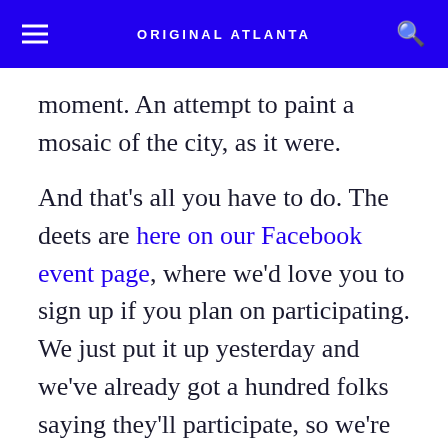ORIGINAL ATLANTA
moment. An attempt to paint a mosaic of the city, as it were.
And that's all you have to do. The deets are here on our Facebook event page, where we'd love you to sign up if you plan on participating. We just put it up yesterday and we've already got a hundred folks saying they'll participate, so we're pretty jazzed about the photos we might get. (Hey, giggling first ones up